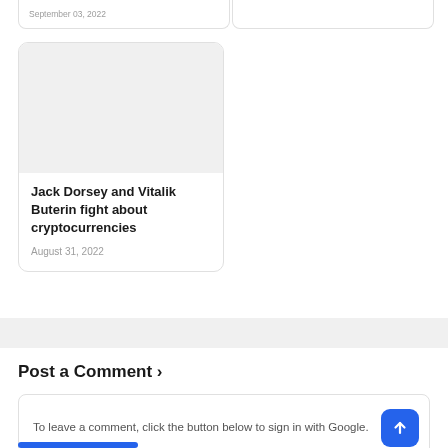September 03, 2022
[Figure (other): Article card image placeholder (gray rectangle)]
Jack Dorsey and Vitalik Buterin fight about cryptocurrencies
August 31, 2022
Post a Comment ›
To leave a comment, click the button below to sign in with Google.